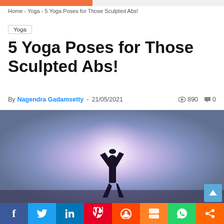Home > Yoga > 5 Yoga Poses for Those Sculpted Abs!
Yoga
5 Yoga Poses for Those Sculpted Abs!
By Nagendra Gadamsetty - 21/05/2021  890  0
[Figure (photo): Silhouette of a person in a yoga tree pose with arms raised overhead against a bright glowing sky with purple/blue tones]
f  Twitter  in  Pinterest  Reddit  Mix  WhatsApp  Share